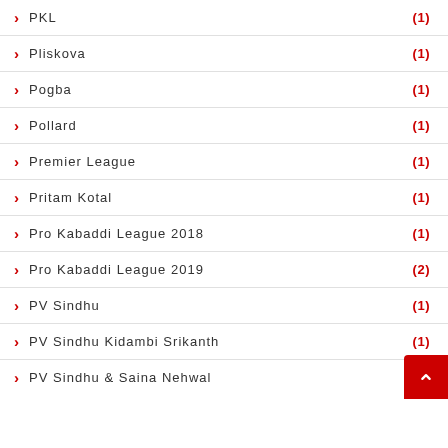PKL (1)
Pliskova (1)
Pogba (1)
Pollard (1)
Premier League (1)
Pritam Kotal (1)
Pro Kabaddi League 2018 (1)
Pro Kabaddi League 2019 (2)
PV Sindhu (1)
PV Sindhu Kidambi Srikanth (1)
PV Sindhu & Saina Nehwal (1)